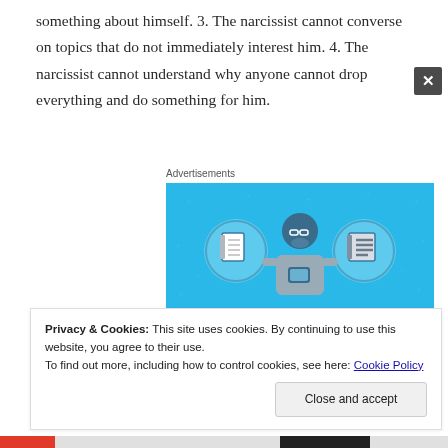something about himself. 3. The narcissist cannot converse on topics that do not immediately interest him. 4. The narcissist cannot understand why anyone cannot drop everything and do something for him.
[Figure (illustration): Day One journaling app advertisement. Blue background with illustration of a person holding a phone, flanked by two circular icons of notebooks. Text reads 'DAY ONE' and 'The only journaling app you'll ever need.']
Privacy & Cookies: This site uses cookies. By continuing to use this website, you agree to their use.
To find out more, including how to control cookies, see here: Cookie Policy